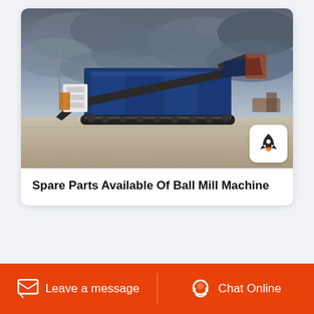[Figure (photo): A large mobile ball mill machine with blue body and tracked undercarriage, parked on an open concrete/dirt yard under a dramatic overcast sky. A rocket-icon badge overlay appears in the bottom-right corner of the photo.]
Spare Parts Available Of Ball Mill Machine
Leave a message
Chat Online